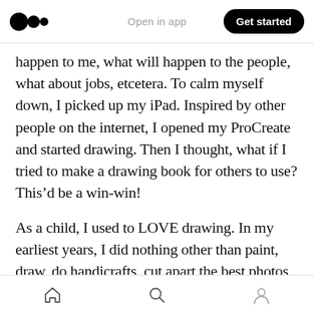Open in app | Get started
happen to me, what will happen to the people, what about jobs, etcetera. To calm myself down, I picked up my iPad. Inspired by other people on the internet, I opened my ProCreate and started drawing. Then I thought, what if I tried to make a drawing book for others to use? This’d be a win-win!
As a child, I used to LOVE drawing. In my earliest years, I did nothing other than paint, draw, do handicrafts, cut apart the best photos in the family photo box and make my own collages from
Home | Search | Profile